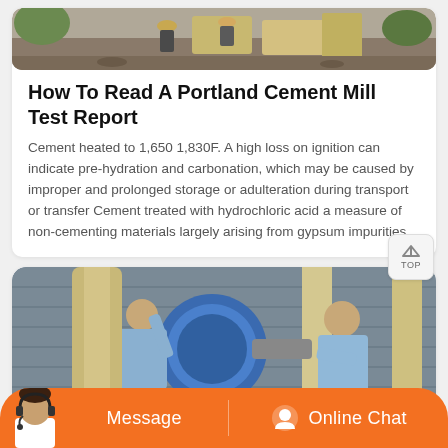[Figure (photo): Outdoor construction/industrial scene with workers and machinery, cropped at top]
How To Read A Portland Cement Mill Test Report
Cement heated to 1,650 1,830F. A high loss on ignition can indicate pre-hydration and carbonation, which may be caused by improper and prolonged storage or adulteration during transport or transfer Cement treated with hydrochloric acid a measure of non-cementing materials largely arising from gypsum impurities
[Figure (photo): Workers in blue shirts working on industrial cement mill equipment]
[Figure (photo): Chat bar with avatar, Message button, and Online Chat button on orange background]